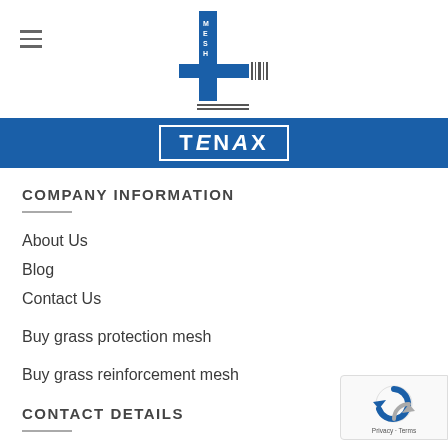4MESH TENAX header navigation
[Figure (logo): 4MESH logo — large blue '4' with 'MESH' text and barcode-style lines, with TENAX brand name in white on blue banner below]
COMPANY INFORMATION
About Us
Blog
Contact Us
Buy grass protection mesh
Buy grass reinforcement mesh
CONTACT DETAILS